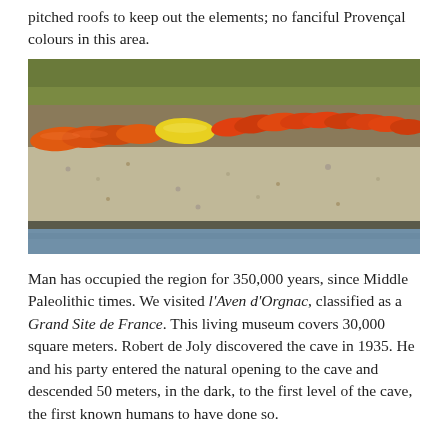pitched roofs to keep out the elements; no fanciful Provençal colours in this area.
[Figure (photo): Photograph of colourful canoes/kayaks (orange, red, yellow) stored upside-down on a gravel riverbank beside calm water, with green grass in the background.]
Man has occupied the region for 350,000 years, since Middle Paleolithic times. We visited l'Aven d'Orgnac, classified as a Grand Site de France. This living museum covers 30,000 square meters. Robert de Joly discovered the cave in 1935. He and his party entered the natural opening to the cave and descended 50 meters, in the dark, to the first level of the cave, the first known humans to have done so.